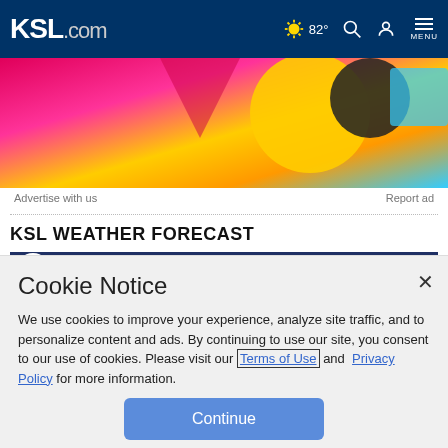KSL.com — navigation bar with weather 82°, search, account, and menu icons
[Figure (screenshot): Colorful advertisement banner with pink, yellow, and blue shapes]
Advertise with us   Report ad
KSL WEATHER FORECAST
[Figure (screenshot): KSL Weather Forecast video thumbnail showing ALLISON MADSEN ST. GEORGE with a male presenter and Toyota sponsorship]
Cookie Notice
We use cookies to improve your experience, analyze site traffic, and to personalize content and ads. By continuing to use our site, you consent to our use of cookies. Please visit our Terms of Use and Privacy Policy for more information.
Continue